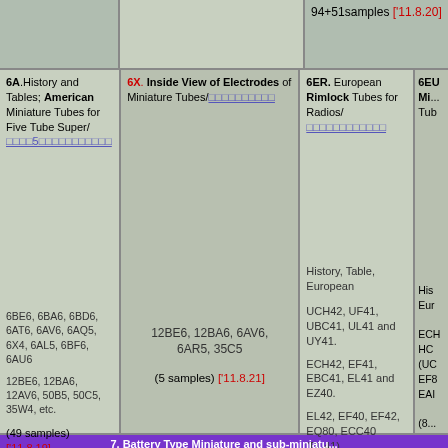94+51samples ['11.8.20]
6A. History and Tables; American Miniature Tubes for Five Tube Super/□□□□5□□□□□□□□□□□
6X. Inside View of Electrodes of Miniature Tubes/□□□□□□□□□□
6ER. European Rimlock Tubes for Radios/□□□□□□□□□□□□
6EU. Mi... Tu...
12BE6, 12BA6, 6AV6, 6AR5, 35C5
(5 samples) ['11.8.21]
History, Table, European
UCH42, UF41, UBC41, UL41 and UY41.
ECH42, EF41, EBC41, EL41 and EZ40.
EL42, EF40, EF42, EQ80, ECC40 (DL41)
(32 samples) ['11.8.21]
His... Eur... ECH HC... (UC EF8 EAL (8...
6BE6, 6BA6, 6BD6, 6AT6, 6AV6, 6AQ5, 6X4, 6AL5, 6BF6, 6AU6
12BE6, 12BA6, 12AV6, 50B5, 50C5, 35W4, etc.
(49 samples) ['11.8.19]
7. Battery Type Miniature and sub-miniatu...